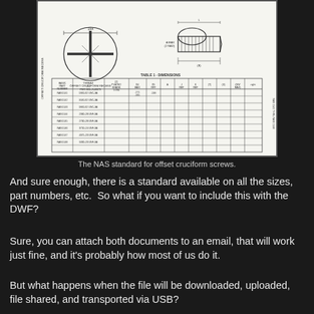[Figure (engineering-diagram): NAS standard engineering drawing showing offset cruciform screws with technical dimensions table (TABLE 1 - DIMENSIONS) listing part numbers, thread specifications, and various dimensional measurements.]
The NAS standard for offset cruciform screws.
And sure enough, there is a standard available on all the sizes, part numbers, etc.  So what if you want to include this with the DWF?
Sure, you can attach both documents to an email, that will work just fine, and it's probably how most of us do it.
But what happens when the file will be downloaded, uploaded, file shared, and transported via USB?